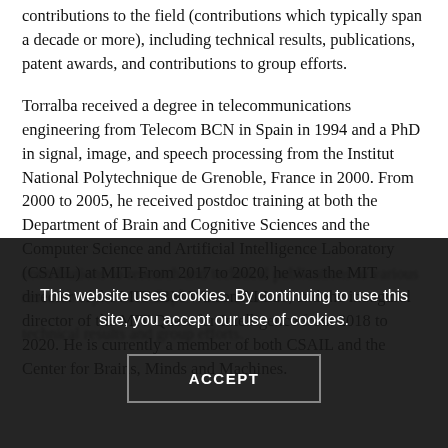contributions to the field (contributions which typically span a decade or more), including technical results, publications, patent awards, and contributions to group efforts.
Torralba received a degree in telecommunications engineering from Telecom BCN in Spain in 1994 and a PhD in signal, image, and speech processing from the Institut National Polytechnique de Grenoble, France in 2000. From 2000 to 2005, he received postdoc training at both the Department of Brain and Cognitive Sciences and the Computer Science and Artificial Intelligence Laboratory (CSAIL) at MIT. From 2017 to 2020, he was the MIT director of the MIT-IBM Watson AI Lab, and the inaugural director of the MIT Quest for Intelligence from 2018 to 2020. He is currently a member of both CSAIL and the Center for Brains, Minds and Machines.
This website uses cookies. By continuing to use this site, you accept our use of cookies.
ACCEPT